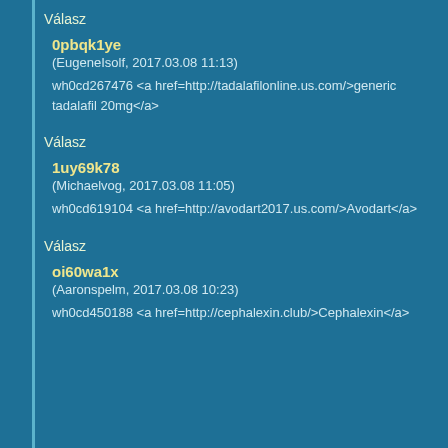Válasz
0pbqk1ye
(EugeneIsolf, 2017.03.08 11:13)
wh0cd267476 <a href=http://tadalafilonline.us.com/>generic tadalafil 20mg</a>
Válasz
1uy69k78
(Michaelvog, 2017.03.08 11:05)
wh0cd619104 <a href=http://avodart2017.us.com/>Avodart</a>
Válasz
oi60wa1x
(Aaronspelm, 2017.03.08 10:23)
wh0cd450188 <a href=http://cephalexin.club/>Cephalexin</a>